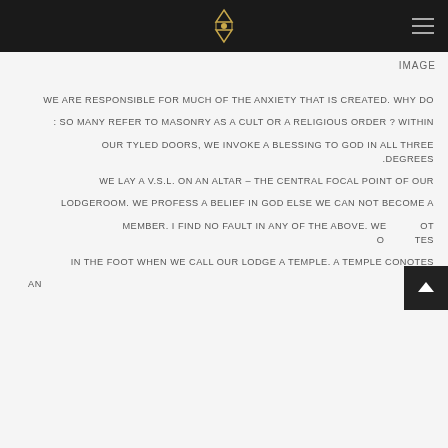[logo] [navigation menu]
IMAGE
WE ARE RESPONSIBLE FOR MUCH OF THE ANXIETY THAT IS CREATED. WHY DO
SO MANY REFER TO MASONRY AS A CULT OR A RELIGIOUS ORDER ? WITHIN
OUR TYLED DOORS, WE INVOKE A BLESSING TO GOD IN ALL THREE DEGREES.
WE LAY A V.S.L. ON AN ALTAR – THE CENTRAL FOCAL POINT OF OUR
LODGEROOM. WE PROFESS A BELIEF IN GOD ELSE WE CAN NOT BECOME A
MEMBER. I FIND NO FAULT IN ANY OF THE ABOVE. WE DO NOT OBLITERATES
IN THE FOOT WHEN WE CALL OUR LODGE A TEMPLE. A TEMPLE CONOTES AN